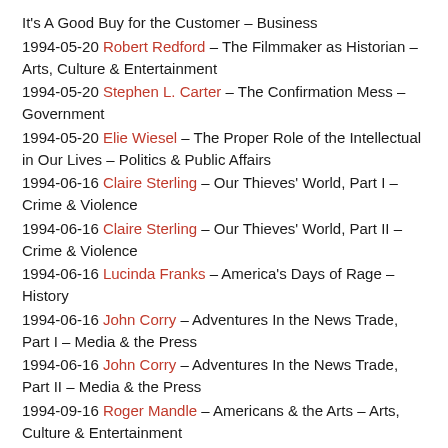It's A Good Buy for the Customer – Business
1994-05-20 Robert Redford – The Filmmaker as Historian – Arts, Culture & Entertainment
1994-05-20 Stephen L. Carter – The Confirmation Mess – Government
1994-05-20 Elie Wiesel – The Proper Role of the Intellectual in Our Lives – Politics & Public Affairs
1994-06-16 Claire Sterling – Our Thieves' World, Part I – Crime & Violence
1994-06-16 Claire Sterling – Our Thieves' World, Part II – Crime & Violence
1994-06-16 Lucinda Franks – America's Days of Rage – History
1994-06-16 John Corry – Adventures In the News Trade, Part I – Media & the Press
1994-06-16 John Corry – Adventures In the News Trade, Part II – Media & the Press
1994-09-16 Roger Mandle – Americans & the Arts – Arts, Culture & Entertainment